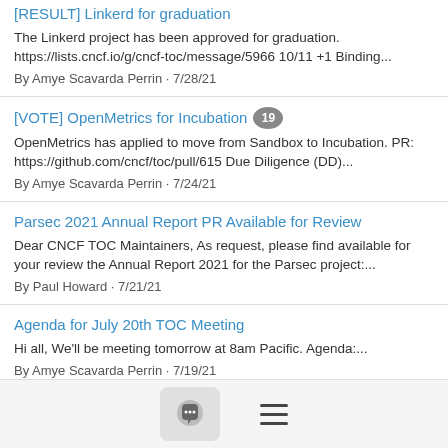[RESULT] Linkerd for graduation
The Linkerd project has been approved for graduation. https://lists.cncf.io/g/cncf-toc/message/5966 10/11 +1 Binding...
By Amye Scavarda Perrin · 7/28/21
[VOTE] OpenMetrics for Incubation (19)
OpenMetrics has applied to move from Sandbox to Incubation. PR: https://github.com/cncf/toc/pull/615 Due Diligence (DD)...
By Amye Scavarda Perrin · 7/24/21
Parsec 2021 Annual Report PR Available for Review
Dear CNCF TOC Maintainers, As request, please find available for your review the Annual Report 2021 for the Parsec project:...
By Paul Howard · 7/21/21
Agenda for July 20th TOC Meeting
Hi all, We'll be meeting tomorrow at 8am Pacific. Agenda:...
By Amye Scavarda Perrin · 7/19/21
[Figure (other): Bottom navigation bar with a chat bubble icon button and a hamburger menu icon]